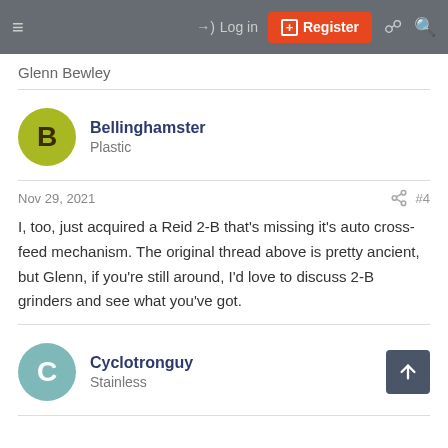Log in  Register
Glenn Bewley
Bellinghamster
Plastic
Nov 29, 2021  #4
I, too, just acquired a Reid 2-B that's missing it's auto cross-feed mechanism. The original thread above is pretty ancient, but Glenn, if you're still around, I'd love to discuss 2-B grinders and see what you've got.
Cyclotronguy
Stainless